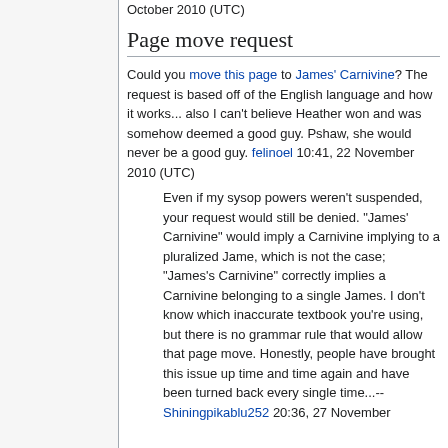October 2010 (UTC)
Page move request
Could you move this page to James' Carnivine? The request is based off of the English language and how it works... also I can't believe Heather won and was somehow deemed a good guy. Pshaw, she would never be a good guy. felinoel 10:41, 22 November 2010 (UTC)
Even if my sysop powers weren't suspended, your request would still be denied. "James' Carnivine" would imply a Carnivine implying to a pluralized Jame, which is not the case; "James's Carnivine" correctly implies a Carnivine belonging to a single James. I don't know which inaccurate textbook you're using, but there is no grammar rule that would allow that page move. Honestly, people have brought this issue up time and time again and have been turned back every single time...-- Shiningpikablu252 20:36, 27 November